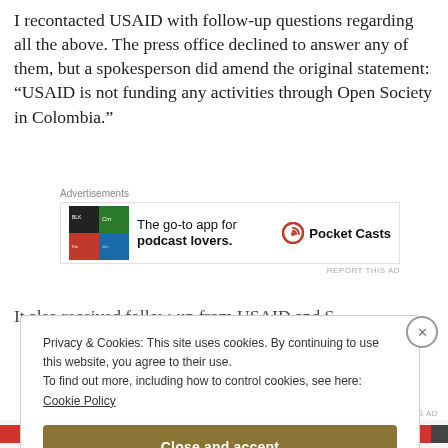I recontacted USAID with follow-up questions regarding all the above. The press office declined to answer any of them, but a spokesperson did amend the original statement: “USAID is not funding any activities through Open Society in Colombia.”
[Figure (infographic): Pocket Casts advertisement: 'The go-to app for podcast lovers.' with app icon showing colorful tiles and Pocket Casts logo]
Privacy & Cookies: This site uses cookies. By continuing to use this website, you agree to their use.
To find out more, including how to control cookies, see here:
Cookie Policy
Close and accept